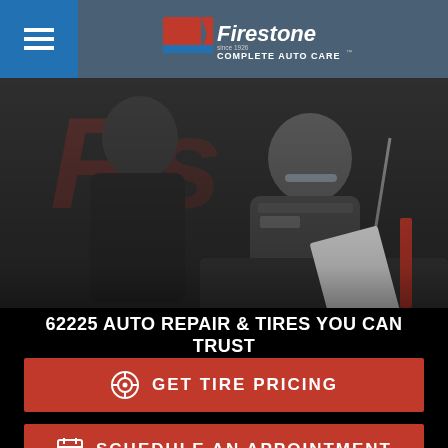Firestone Complete Auto Care
[Figure (photo): Two auto mechanics in gray uniforms leaning over an open car hood in a Firestone service bay. One mechanic is examining under the hood while the other looks on.]
62225 AUTO REPAIR & TIRES YOU CAN TRUST
GET TIRE PRICING
SCHEDULE AN APPOINTMENT